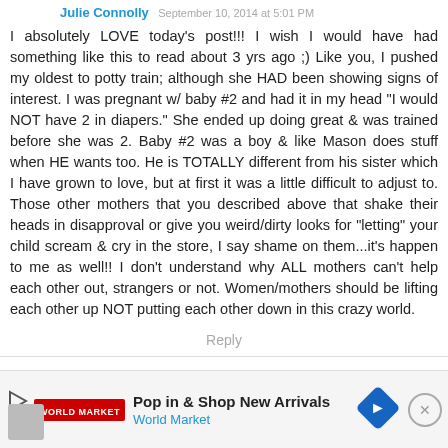Julie Connolly September 10, 2014 at 5:01 PM
I absolutely LOVE today's post!!! I wish I would have had something like this to read about 3 yrs ago ;) Like you, I pushed my oldest to potty train; although she HAD been showing signs of interest. I was pregnant w/ baby #2 and had it in my head "I would NOT have 2 in diapers." She ended up doing great & was trained before she was 2. Baby #2 was a boy & like Mason does stuff when HE wants too. He is TOTALLY different from his sister which I have grown to love, but at first it was a little difficult to adjust to. Those other mothers that you described above that shake their heads in disapproval or give you weird/dirty looks for "letting" your child scream & cry in the store, I say shame on them...it's happen to me as well!! I don't understand why ALL mothers can't help each other out, strangers or not. Women/mothers should be lifting each other up NOT putting each other down in this crazy world.
Reply
[Figure (infographic): Advertisement banner for World Market: Pop in & Shop New Arrivals with a blue diamond navigation icon on the right and a close button.]